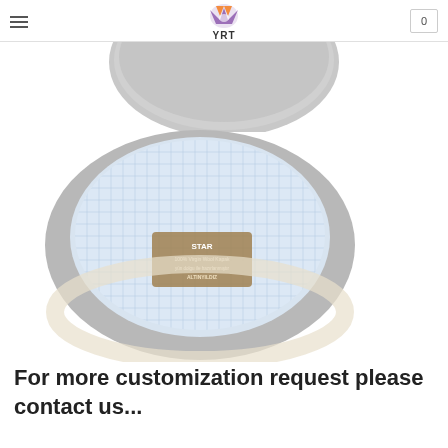YRT
[Figure (photo): Top view of a gray flat cap showing the top exterior, partially cut off at the top of the image.]
[Figure (photo): Interior view of a gray flat cap showing the light blue checkered lining, a brand label reading STAR and ALTINYILDIZ in the center, and a cream-colored sweatband around the edge.]
For more customization request please contact us...